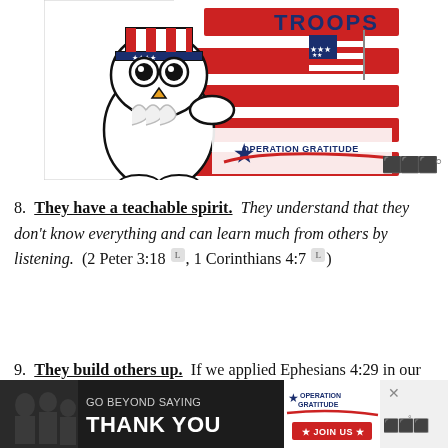[Figure (illustration): Operation Gratitude promotional image with cartoon owl wearing Uncle Sam hat and holding American flag, against red and white stripes background, with 'Operation Gratitude' logo in lower right and partial text 'TROOPS' at top right]
8. They have a teachable spirit. They understand that they don't know everything and can learn much from others by listening. (2 Peter 3:18 [L], 1 Corinthians 4:7 [L])
9. They build others up. If we applied Ephesians 4:29 in our lives there would be much
[Figure (advertisement): Operation Gratitude advertisement banner: 'GO BEYOND SAYING THANK YOU' with Operation Gratitude logo and JOIN US button, dark background with photo of people on left]